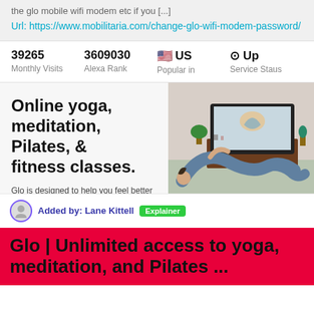the glo mobile wifi modem etc if you [...]
Url: https://www.mobilitaria.com/change-glo-wifi-modem-password/
| Monthly Visits | Alexa Rank | Popular in | Service Staus |
| --- | --- | --- | --- |
| 39265 | 3609030 | 🇺🇸 US | ⊙ Up |
[Figure (screenshot): Screenshot of Glo website showing yoga/fitness class banner with text 'Online yoga, meditation, Pilates, & fitness classes.' and woman doing yoga pose in front of TV]
Added by: Lane Kittell  Explainer
Glo | Unlimited access to yoga, meditation, and Pilates ...